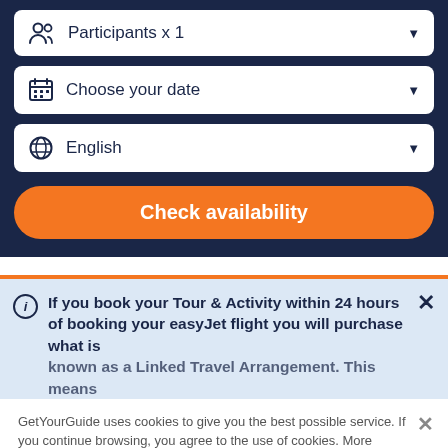Participants x 1
Choose your date
English
Check availability
If you book your Tour & Activity within 24 hours of booking your easyJet flight you will purchase what is known as a Linked Travel Arrangement. This means
GetYourGuide uses cookies to give you the best possible service. If you continue browsing, you agree to the use of cookies. More details can be found in our privacy policy.